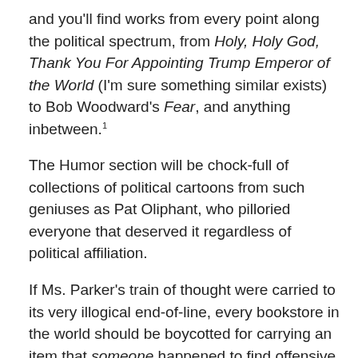and you'll find works from every point along the political spectrum, from Holy, Holy God, Thank You For Appointing Trump Emperor of the World (I'm sure something similar exists) to Bob Woodward's Fear, and anything inbetween. 1
The Humor section will be chock-full of collections of political cartoons from such geniuses as Pat Oliphant, who pilloried everyone that deserved it regardless of political affiliation.
If Ms. Parker's train of thought were carried to its very illogical end-of-line, every bookstore in the world should be boycotted for carrying an item that someone happened to find offensive.
It's called “The First Amendment.” Satire and Parody are